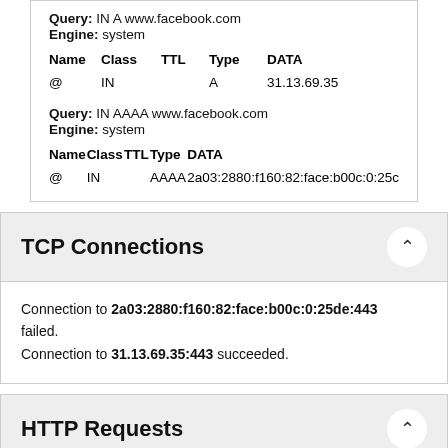Query: IN A www.facebook.com
Engine: system
| Name | Class | TTL | Type | DATA |
| --- | --- | --- | --- | --- |
| @ | IN |  | A | 31.13.69.35 |
Query: IN AAAA www.facebook.com
Engine: system
| Name | Class | TTL | Type | DATA |
| --- | --- | --- | --- | --- |
| @ | IN |  | AAAA | 2a03:2880:f160:82:face:b00c:0:25c |
TCP Connections
Connection to 2a03:2880:f160:82:face:b00c:0:25de:443 failed.
Connection to 31.13.69.35:443 succeeded.
HTTP Requests